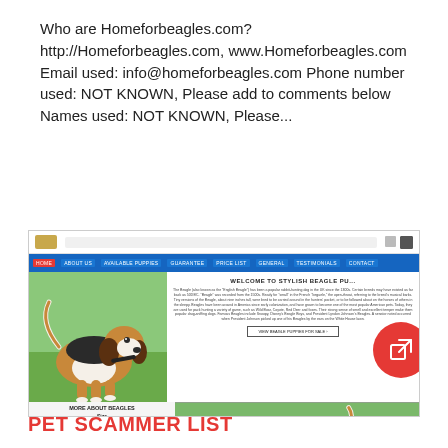Who are Homeforbeagles.com? http://Homeforbeagles.com, www.Homeforbeagles.com Email used: info@homeforbeagles.com Phone number used: NOT KNOWN, Please add to comments below Names used: NOT KNOWN, Please...
[Figure (screenshot): Screenshot of Homeforbeagles.com website showing a beagle dog, navigation menu, 'Welcome to Stylish Beagle Puppies' heading, body text about beagles, 'View Beagle Puppies for Sale' button, 'More About Beagles' section with 'Size' subsection, and a second beagle photo. A red circle button with external link icon overlays the top-right of the screenshot.]
PET SCAMMER LIST